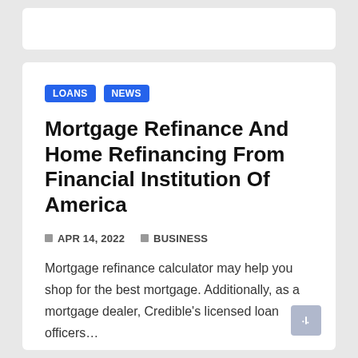LOANS  NEWS
Mortgage Refinance And Home Refinancing From Financial Institution Of America
APR 14, 2022  BUSINESS
Mortgage refinance calculator may help you shop for the best mortgage. Additionally, as a mortgage dealer, Credible's licensed loan officers…